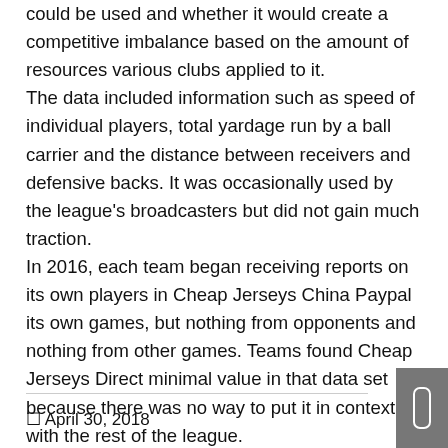could be used and whether it would create a competitive imbalance based on the amount of resources various clubs applied to it. The data included information such as speed of individual players, total yardage run by a ball carrier and the distance between receivers and defensive backs. It was occasionally used by the league's broadcasters but did not gain much traction. In 2016, each team began receiving reports on its own players in Cheap Jerseys China Paypal its own games, but nothing from opponents and nothing from other games. Teams found Cheap Jerseys Direct minimal value in that data set because there was no way to put it in context with the rest of the league.
☐ April 30, 2018